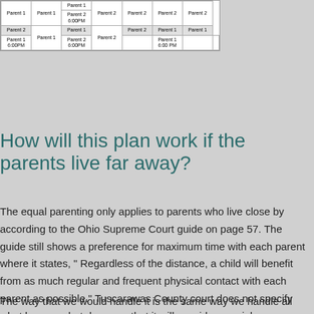|  |  | Parent 1 | Parent 2 | Parent 2 | Parent 2 | Parent 2 |
| --- | --- | --- | --- | --- | --- | --- |
| Parent 1 | Parent 1 | Parent 2
6:00PM | Parent 2 | Parent 2 | Parent 2 | Parent 2 |
| Parent 2 | Parent 1 | Parent 1 | Parent 2 | Parent 2 | Parent 1 | Parent 1 |
| Parent 1
6:00PM |  | Parent 2
6:00PM |  | Parent 1
6:00 PM |  |  |
How will this plan work if the parents live far away?
The equal parenting only applies to parents who live close by according to the Ohio Supreme Court guide on page 57. The guide still shows a preference for maximum time with each parent where it states, " Regardless of the distance, a child will benefit from as much regular and frequent physical contact with each parent as possible." Tuscarawas County court does not specify what happens but does say that it will consider special circumstances. Distance between the parents is not specifically discussed in the Tuscarawas County Standard Parenting Order and Rules Governing Companionship Time.
The way that we would handle it is the same way we handle all potential infringements of constitutional fundamental rights. The child has a legal right